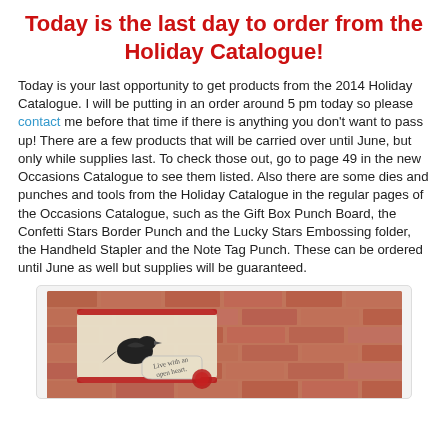Today is the last day to order from the Holiday Catalogue!
Today is your last opportunity to get products from the 2014 Holiday Catalogue. I will be putting in an order around 5 pm today so please contact me before that time if there is anything you don't want to pass up!  There are a few products that will be carried over until June, but only while supplies last. To check those out, go to page 49 in the new Occasions Catalogue to see them listed. Also there are some dies and punches and tools from the Holiday Catalogue in the regular pages of the Occasions Catalogue, such as the Gift Box Punch Board, the Confetti Stars Border Punch and the Lucky Stars Embossing folder, the Handheld Stapler and the Note Tag Punch.  These can be ordered until June as well but supplies will be guaranteed.
[Figure (photo): A handmade greeting card with a brick-pattern background, a decorative bird silhouette, and a label reading 'Live with an open heart.']